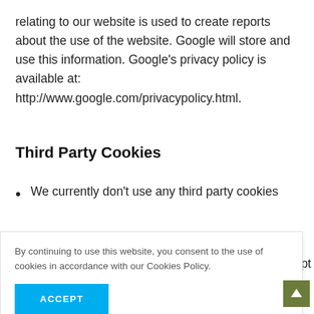relating to our website is used to create reports about the use of the website. Google will store and use this information. Google's privacy policy is available at: http://www.google.com/privacypolicy.html.
Third Party Cookies
We currently don't use any third party cookies
By continuing to use this website, you consent to the use of cookies in accordance with our Cookies Policy.
ACCEPT